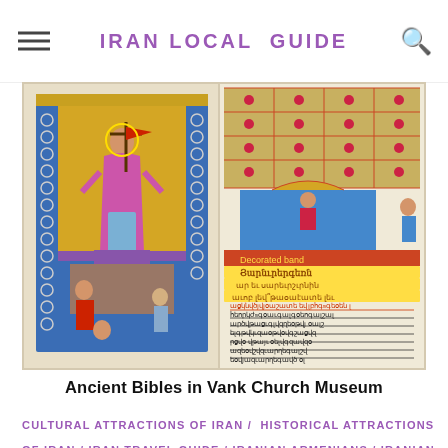IRAN LOCAL GUIDE
[Figure (photo): Open illuminated Armenian manuscript Bible with colorful religious illustrations including a figure of Christ holding a cross on the left page, and elaborate decorative floral/geometric borders with Armenian text script on the right page. Displayed in Vank Church Museum.]
Ancient Bibles in Vank Church Museum
CULTURAL ATTRACTIONS OF IRAN / HISTORICAL ATTRACTIONS OF IRAN / IRAN TRAVEL GUIDE / IRANIAN ARMENIANS / IRANIAN